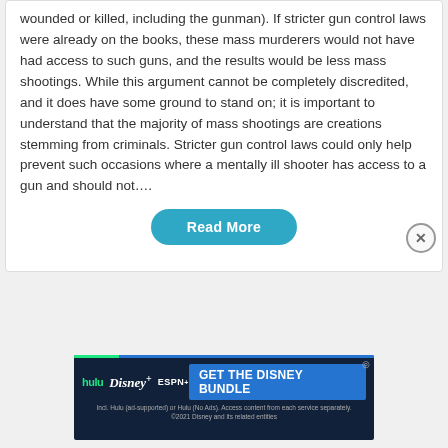wounded or killed, including the gunman). If stricter gun control laws were already on the books, these mass murderers would not have had access to such guns, and the results would be less mass shootings. While this argument cannot be completely discredited, and it does have some ground to stand on; it is important to understand that the majority of mass shootings are creations stemming from criminals. Stricter gun control laws could only help prevent such occasions where a mentally ill shooter has access to a gun and should not….
Read More
[Figure (screenshot): Advertisement banner for the Disney Bundle (Hulu, Disney+, ESPN+). Dark navy background with logos and 'GET THE DISNEY BUNDLE' call to action. Small print: 'Incl. Hulu (ad-supported) or Hulu (No Ads). Access content from each service separately. ©2021 Disney and its related entities']